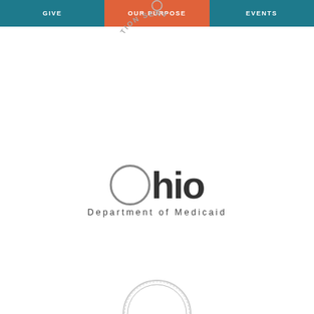GIVE | OUR PURPOSE | EVENTS
[Figure (logo): Partial arc text reading 'TION SERV' from a circular seal at the top center]
[Figure (logo): Ohio Department of Medicaid logo — circle O followed by 'hio' in bold dark text, with 'Department of Medicaid' in spaced letters below]
[Figure (logo): Partial circular seal or coin visible at the bottom center of the page]